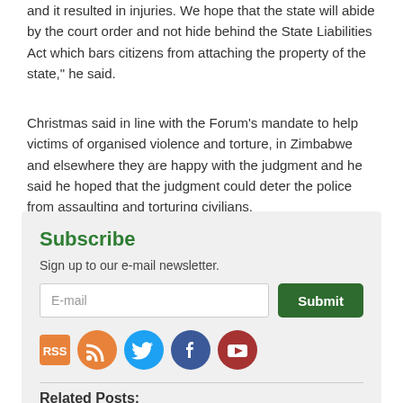and it resulted in injuries. We hope that the state will abide by the court order and not hide behind the State Liabilities Act which bars citizens from attaching the property of the state," he said.
Christmas said in line with the Forum's mandate to help victims of organised violence and torture, in Zimbabwe and elsewhere they are happy with the judgment and he said he hoped that the judgment could deter the police from assaulting and torturing civilians.
Subscribe
Sign up to our e-mail newsletter.
Related Posts: